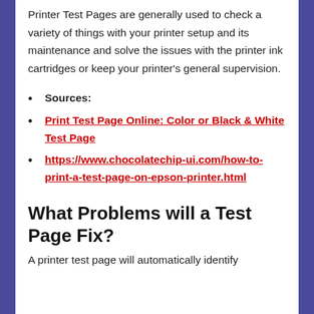Printer Test Pages are generally used to check a variety of things with your printer setup and its maintenance and solve the issues with the printer ink cartridges or keep your printer's general supervision.
Sources:
Print Test Page Online: Color or Black & White Test Page
https://www.chocolatechip-ui.com/how-to-print-a-test-page-on-epson-printer.html
What Problems will a Test Page Fix?
A printer test page will automatically identify